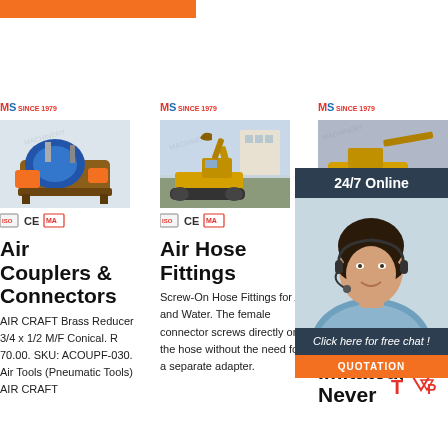[Figure (screenshot): E-commerce product listing page showing three product columns with machinery images, brand logos, certification badges, and a 24/7 online chat overlay popup. Products include Air Couplers & Connectors, Air Hose Fittings, and a third partially visible product. Orange top navigation bar visible.]
Air Couplers & Connectors
AIR CRAFT Brass Reducer 3/4 x 1/2 M/F Conical. R 70.00. SKU: ACOUPF-030. Air Tools (Pneumatic Tools) AIR CRAFT
Air Hose Fittings
Screw-On Hose Fittings for Air and Water. The female connector screws directly onto the hose without the need for a separate adapter.
Ho... C... - P... House: Often Imitated, Never